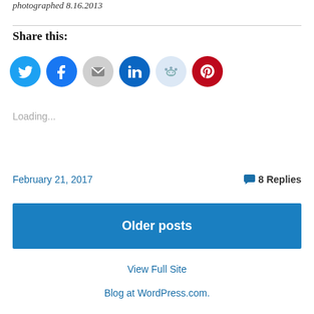photographed 8.16.2013
Share this:
[Figure (other): Row of social sharing icon buttons: Twitter (blue), Facebook (blue), Email (grey), LinkedIn (dark teal), Reddit (light blue), Pinterest (red)]
Loading...
February 21, 2017
8 Replies
Older posts
View Full Site
Blog at WordPress.com.